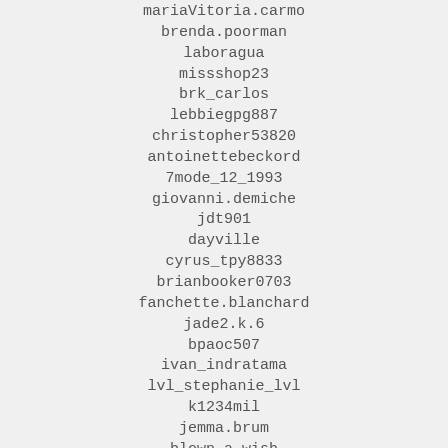mariaVitoria.carmo
brenda.poorman
laboragua
missshop23
brk_carlos
lebbiegpg887
christopher53820
antoinettebeckord
7mode_12_1993
giovanni.demiche
jdt901
dayville
cyrus_tpy8833
brianbooker0703
fanchette.blanchard
jade2.k.6
bpaoc507
ivan_indratama
lvl_stephanie_lvl
k1234mil
jemma.brum
blown_a_wish
dol_inskii_nikita
daniel.kunizyn
maliarik